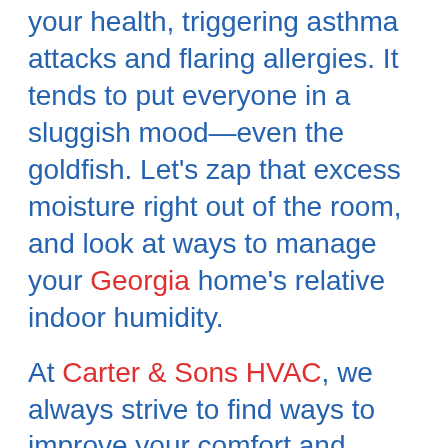your health, triggering asthma attacks and flaring allergies. It tends to put everyone in a sluggish mood—even the goldfish. Let's zap that excess moisture right out of the room, and look at ways to manage your Georgia home's relative indoor humidity.
At Carter & Sons HVAC, we always strive to find ways to improve your comfort and energy savings. We believe you should control your comfort, and it starts with your indoor air quality (IAQ) and relative indoor humidity.
How to Manage Your Home's